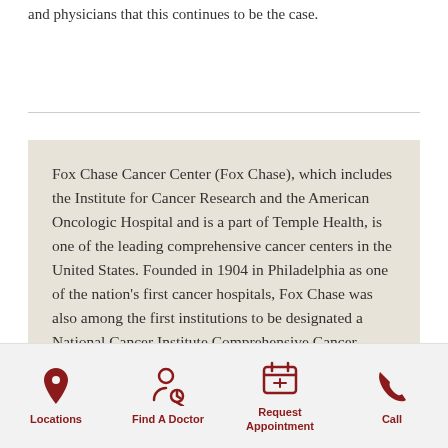and physicians that this continues to be the case.
Fox Chase Cancer Center (Fox Chase), which includes the Institute for Cancer Research and the American Oncologic Hospital and is a part of Temple Health, is one of the leading comprehensive cancer centers in the United States. Founded in 1904 in Philadelphia as one of the nation's first cancer hospitals, Fox Chase was also among the first institutions to be designated a National Cancer Institute Comprehensive Cancer Center in 1974. Fox Chase is also one of just 10 members of the Alliance of Dedicated Cancer Centers. Fox Chase researchers have won the highest awards in their fields, including two Nobel Prizes. Fox Chase physicians are also routinely recognized in national rankings, and the
Locations | Find A Doctor | Request Appointment | Call